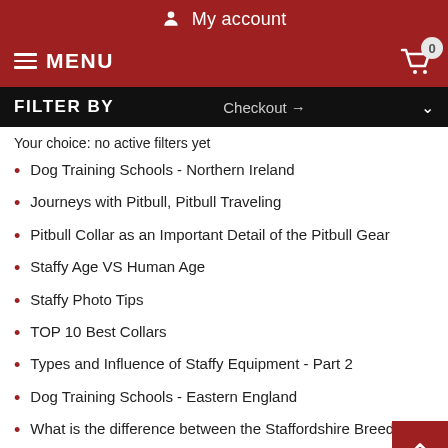My account
MENU  0
FILTER BY  Checkout →
Your choice: no active filters yet
Dog Training Schools - Northern Ireland
Journeys with Pitbull, Pitbull Traveling
Pitbull Collar as an Important Detail of the Pitbull Gear
Staffy Age VS Human Age
Staffy Photo Tips
TOP 10 Best Collars
Types and Influence of Staffy Equipment - Part 2
Dog Training Schools - Eastern England
What is the difference between the Staffordshire Breed
Exercises with a Bite Sleeve